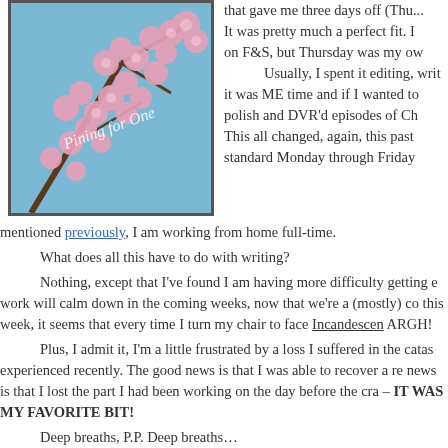[Figure (photo): Cherry blossom branch with pink flowers against blue sky, with cursive text overlay reading 'Pining for One']
that gave me three days off (Thu... It was pretty much a perfect fit. I on F&S, but Thursday was my ow Usually, I spent it editing, writ it was ME time and if I wanted to polish and DVR'd episodes of Ch This all changed, again, this past standard Monday through Friday mentioned previously, I am working from home full-time.
What does all this have to do with writing?
Nothing, except that I've found I am having more difficulty getting e work will calm down in the coming weeks, now that we're a (mostly) co this week, it seems that every time I turn my chair to face Incandescen ARGH!
Plus, I admit it, I'm a little frustrated by a loss I suffered in the catas experienced recently. The good news is that I was able to recover a re news is that I lost the part I had been working on the day before the cra – IT WAS MY FAVORITE BIT!
Deep breaths, P.P. Deep breaths…
*ahem*
Yes, I lost a big chunk of a chapter that I had been rewriting and wa with. I'm working on recapturing it, but somehow it just isn't quite as 'ri